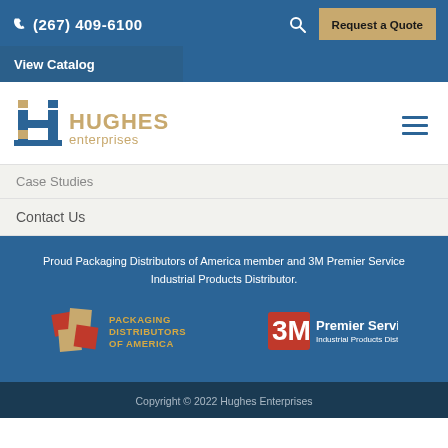(267) 409-6100  Request a Quote
View Catalog
[Figure (logo): Hughes Enterprises logo with stylized H building icon in blue and orange/gold colors]
Case Studies
Contact Us
Proud Packaging Distributors of America member and 3M Premier Service Industrial Products Distributor.
[Figure (logo): Packaging Distributors of America logo with red and gold geometric shape]
[Figure (logo): 3M Premier Service Industrial Products Distributor logo]
Copyright © 2022 Hughes Enterprises